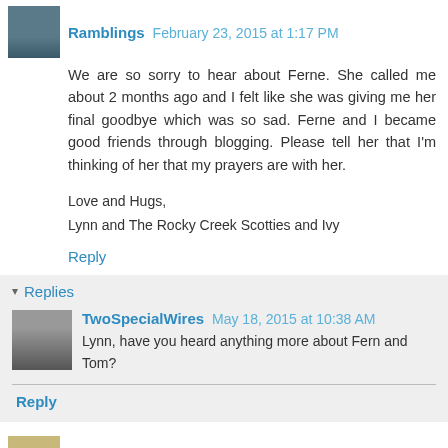Ramblings  February 23, 2015 at 1:17 PM
We are so sorry to hear about Ferne. She called me about 2 months ago and I felt like she was giving me her final goodbye which was so sad. Ferne and I became good friends through blogging. Please tell her that I'm thinking of her that my prayers are with her.
Love and Hugs,
Lynn and The Rocky Creek Scotties and Ivy
Reply
Replies
TwoSpecialWires  May 18, 2015 at 10:38 AM
Lynn, have you heard anything more about Fern and Tom?
Reply
My Dog Sam - Ruptured Disk  February 27, 2015 at 9:20